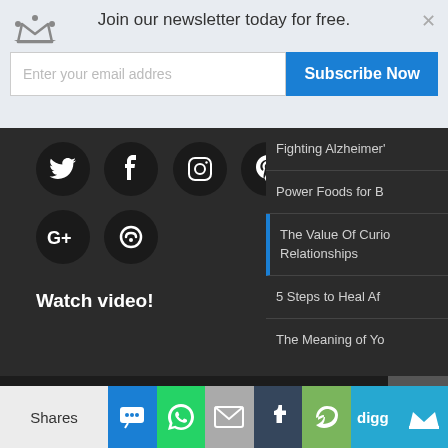Join our newsletter today for free. | Enter your email addres | Subscribe Now
[Figure (screenshot): Social media icons: Twitter, Facebook, Instagram, Pinterest, Tumblr, Google+, StumbleUpon on dark background]
Watch video!
Fighting Alzheimer's
Power Foods for B
The Value Of Curio Relationships
5 Steps to Heal Af
The Meaning of Yo
© Copyright ZoeSuccess Marketing
Shares